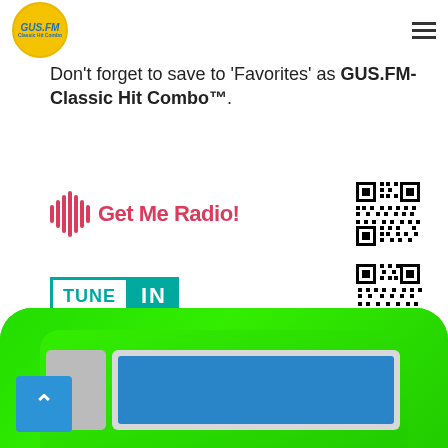[Figure (logo): GUS.FM circular yellow logo in page header]
Don't forget to save to 'Favorites' as GUS.FM-Classic Hit Combo™.
[Figure (logo): Get Me Radio! logo with radio wave icon and QR code]
[Figure (logo): TuneIn logo with teal branding and QR code]
[Figure (photo): Green device/radio hardware at the bottom of the page]